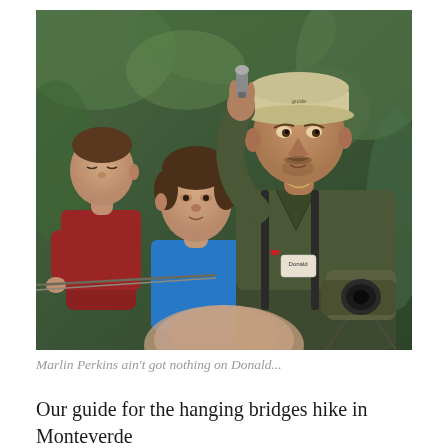[Figure (photo): A man wearing a beige cap and dark olive jacket holding a small flashlight or object up while two children look on; man has a name tag and camera equipment, set against a green leafy background. Appears to be a nature guide with children.]
Marlin Perkins ain't got nothing on Donald...
Our guide for the hanging bridges hike in Monteverde